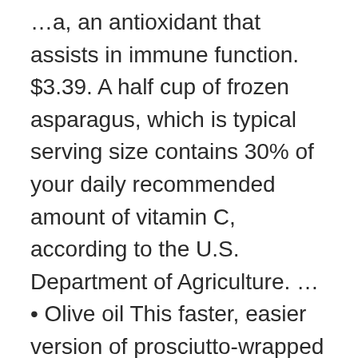...a, an antioxidant that assists in immune function. $3.39. A half cup of frozen asparagus, which is typical serving size contains 30% of your daily recommended amount of vitamin C, according to the U.S. Department of Agriculture. ... • Olive oil This faster, easier version of prosciutto-wrapped asparagus will disappear quickly from your holiday dinner table. Remove the skillet from the heat and scoop the asparagus out onto a plate with your spatula to serve. If you have a recipe that calls for spinach as the main ingredient, you can use frozen. Heat one tbsp of olive oil in a wok or skillet over medium-high heat. Birds Eye Steamfresh Selects